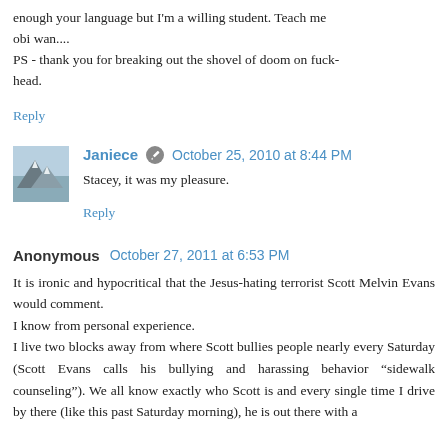enough your language but I'm a willing student. Teach me obi wan....
PS - thank you for breaking out the shovel of doom on fuck-head.
Reply
Janiece  October 25, 2010 at 8:44 PM
Stacey, it was my pleasure.
Reply
Anonymous  October 27, 2011 at 6:53 PM
It is ironic and hypocritical that the Jesus-hating terrorist Scott Melvin Evans would comment.
I know from personal experience.
I live two blocks away from where Scott bullies people nearly every Saturday (Scott Evans calls his bullying and harassing behavior “sidewalk counseling”). We all know exactly who Scott is and every single time I drive by there (like this past Saturday morning), he is out there with a